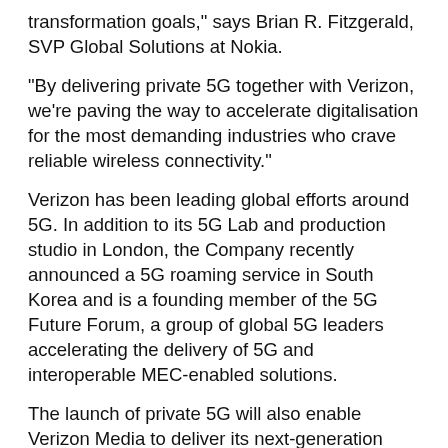transformation goals," says Brian R. Fitzgerald, SVP Global Solutions at Nokia.
"By delivering private 5G together with Verizon, we're paving the way to accelerate digitalisation for the most demanding industries who crave reliable wireless connectivity."
Verizon has been leading global efforts around 5G. In addition to its 5G Lab and production studio in London, the Company recently announced a 5G roaming service in South Korea and is a founding member of the 5G Future Forum, a group of global 5G leaders accelerating the delivery of 5G and interoperable MEC-enabled solutions.
The launch of private 5G will also enable Verizon Media to deliver its next-generation content creation, production and distribution technologies at scale and in real-time to global audiences for customers.